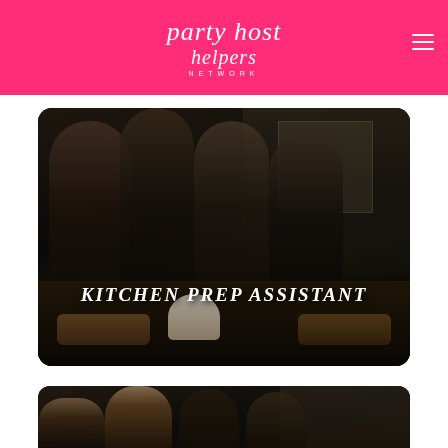party host helpers
[Figure (photo): Four people in black uniforms standing behind a table of cakes and pastries in a kitchen setting, with text overlay reading KITCHEN PREP ASSISTANT]
KITCHEN PREP ASSISTANT
[Figure (photo): Partial view of a second photo showing people in aprons, partially cut off at the bottom of the page]